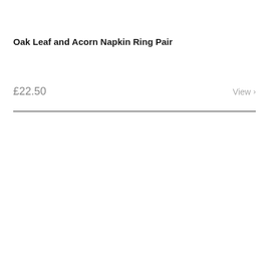Oak Leaf and Acorn Napkin Ring Pair
£22.50
View →